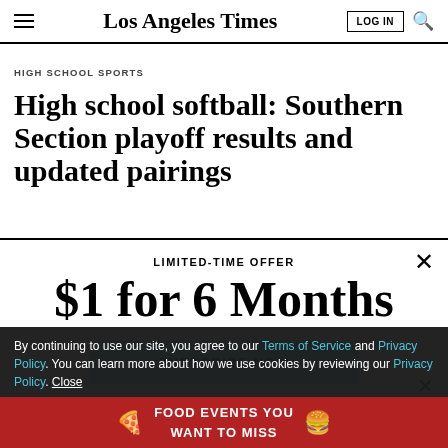Los Angeles Times
HIGH SCHOOL SPORTS
High school softball: Southern Section playoff results and updated pairings
LIMITED-TIME OFFER
$1 for 6 Months
SUBSCRIBE NOW
By continuing to use our site, you agree to our Terms of Service and Privacy Policy. You can learn more about how we use cookies by reviewing our Privacy Policy. Close
FOOD EVENTS YOU WANT TO MISS